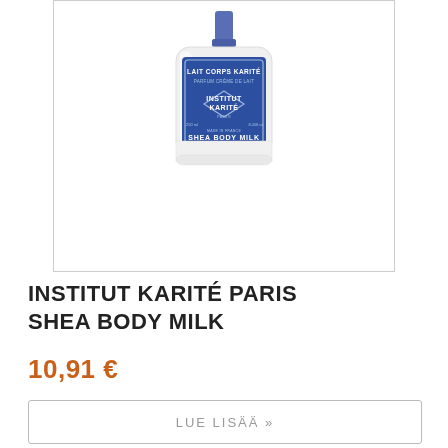[Figure (photo): Product photo of Institut Karité Paris Shea Body Milk bottle — white flat-cap bottle with blue label, blue pump top visible. Label reads: LAIT CORPS KARITÉ / PARFUM CRÈME DE LAIT / INSTITUT KARITÉ PARIS / 250ml 8.45fl oz / MADE IN FRANCE / SHEA BODY MILK / PERFUME MILK CREAM]
INSTITUT KARITÉ PARIS SHEA BODY MILK
10,91 €
LUE LISÄÄ »